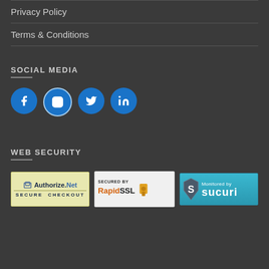Privacy Policy
Terms & Conditions
SOCIAL MEDIA
[Figure (illustration): Social media icons: Facebook, Instagram, Twitter, LinkedIn — circular blue buttons]
WEB SECURITY
[Figure (illustration): Three web security badges: Authorize.Net Secure Checkout, Secured by RapidSSL, Monitored by Sucuri]